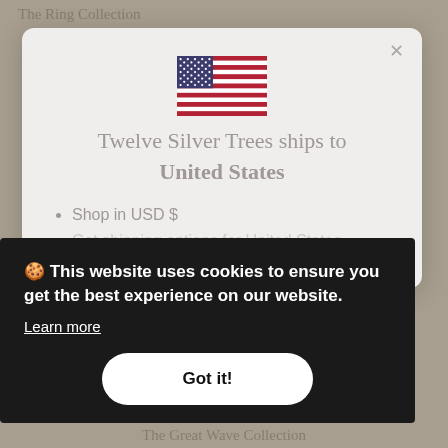The Ring Collection
[Figure (illustration): US flag emoji/illustration centered in modal]
Twelve Silver Trees ships to United States
Shop in USD $
Get shipping options for United States
🍪 This website uses cookies to ensure you get the best experience on our website. Learn more
Got it!
The Great Wave Collection